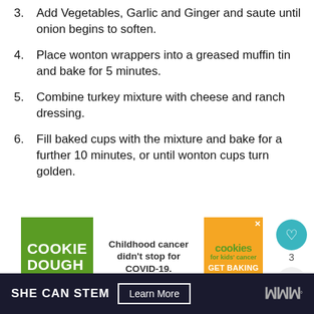3. Add Vegetables, Garlic and Ginger and saute until onion begins to soften.
4. Place wonton wrappers into a greased muffin tin and bake for 5 minutes.
5. Combine turkey mixture with cheese and ranch dressing.
6. Fill baked cups with the mixture and bake for a further 10 minutes, or until wonton cups turn golden.
[Figure (infographic): Cookie Dough for Kids Cancer advertisement banner: green left panel with COOKIE DOUGH text, white middle panel with text 'Childhood cancer didn't stop for COVID-19.', orange right panel with cookies logo and GET BAKING CTA]
WHAT'S NEXT → DreamWorks HOME Blu-R...
SHE CAN STEM  Learn More